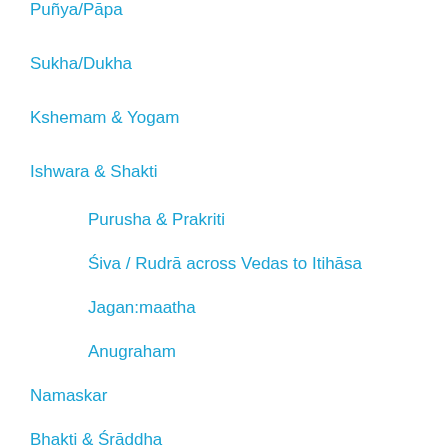Punya/Papa
Sukha/Dukha
Kshemam & Yogam
Ishwara & Shakti
Purusha & Prakriti
Śiva / Rudrā across Vedas to Itihāsa
Jagan:maatha
Anugraham
Namaskar
Bhakti & Śrāddha
Navavidha Bhakti
Prasadam
Upavas / Fasting
Rebirth/Jiva/Atma